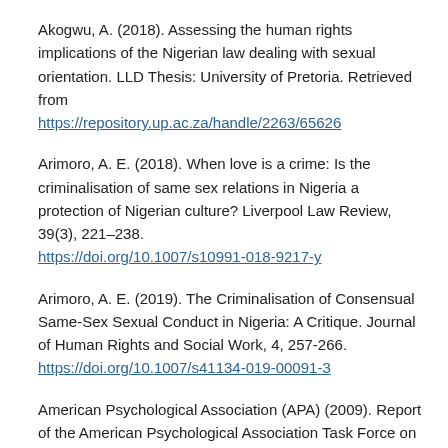Akogwu, A. (2018). Assessing the human rights implications of the Nigerian law dealing with sexual orientation. LLD Thesis: University of Pretoria. Retrieved from https://repository.up.ac.za/handle/2263/65626
Arimoro, A. E. (2018). When love is a crime: Is the criminalisation of same sex relations in Nigeria a protection of Nigerian culture? Liverpool Law Review, 39(3), 221–238. https://doi.org/10.1007/s10991-018-9217-y
Arimoro, A. E. (2019). The Criminalisation of Consensual Same-Sex Sexual Conduct in Nigeria: A Critique. Journal of Human Rights and Social Work, 4, 257-266. https://doi.org/10.1007/s41134-019-00091-3
American Psychological Association (APA) (2009). Report of the American Psychological Association Task Force on Appropriate Therapeutic Responses to Sexual Orientation. Washington, DC: